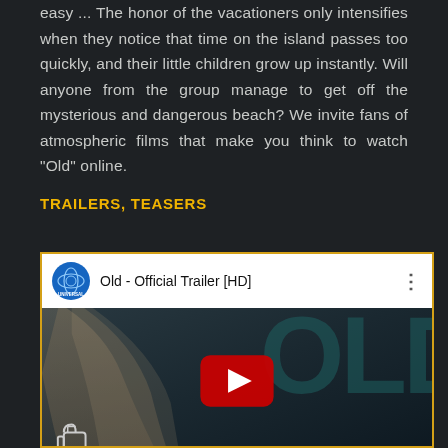easy ... The horror of the vacationers only intensifies when they notice that time on the island passes too quickly, and their little children grow up instantly. Will anyone from the group manage to get off the mysterious and dangerous beach? We invite fans of atmospheric films that make you think to watch "Old" online.
TRAILERS, TEASERS
[Figure (screenshot): YouTube video embed for 'Old - Official Trailer [HD]' by Universal Pictures, showing the Universal logo, video title, a dark thumbnail with a YouTube play button overlay, 'OLD' text watermark, thumbs up icon, and 'OFFICIAL TRAILER' text at the bottom.]